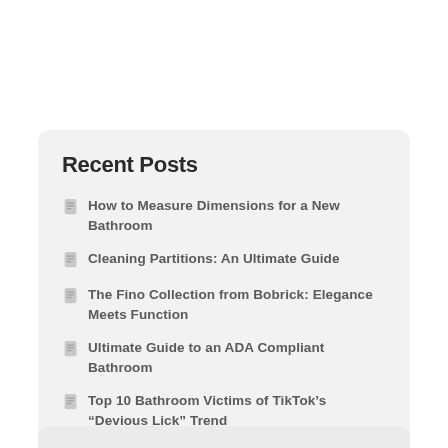Recent Posts
How to Measure Dimensions for a New Bathroom
Cleaning Partitions: An Ultimate Guide
The Fino Collection from Bobrick: Elegance Meets Function
Ultimate Guide to an ADA Compliant Bathroom
Top 10 Bathroom Victims of TikTok's “Devious Lick” Trend